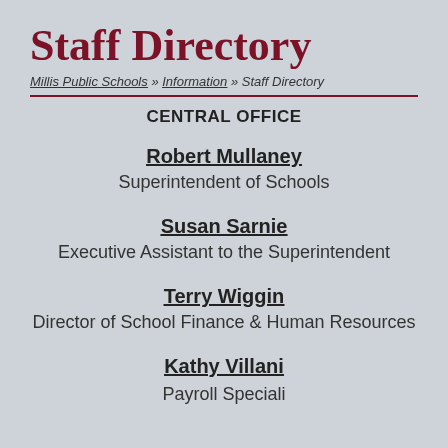Staff Directory
Millis Public Schools » Information » Staff Directory
CENTRAL OFFICE
Robert Mullaney
Superintendent of Schools
Susan Sarnie
Executive Assistant to the Superintendent
Terry Wiggin
Director of School Finance & Human Resources
Kathy Villani
Payroll Specialist